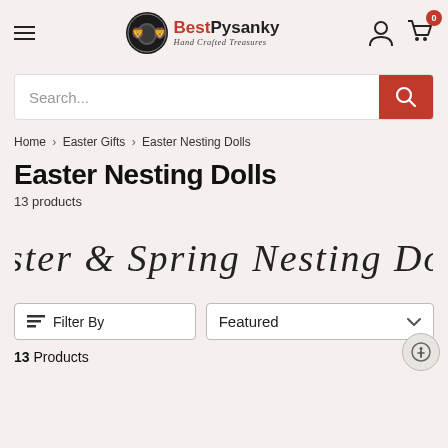BestPysanky Hand Crafted Treasures
Search...
Home › Easter Gifts › Easter Nesting Dolls
Easter Nesting Dolls
13 products
[Figure (illustration): Decorative script text reading 'Easter & Spring Nesting Dolls']
Filter By
Featured
13 Products